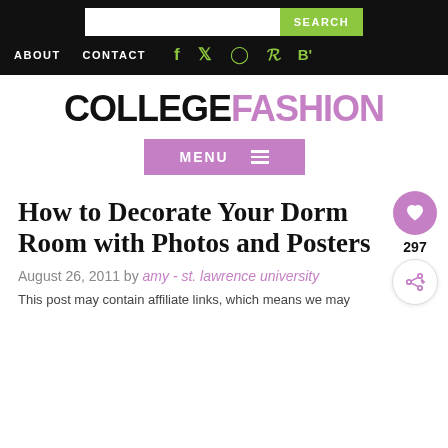ABOUT   CONTACT   [social icons: Facebook, Twitter, Instagram, Pinterest, Bloglovin]
COLLEGEFASHION
MENU
How to Decorate Your Dorm Room with Photos and Posters
August 26, 2011 by amy - st. lawrence university
This post may contain affiliate links, which means we may